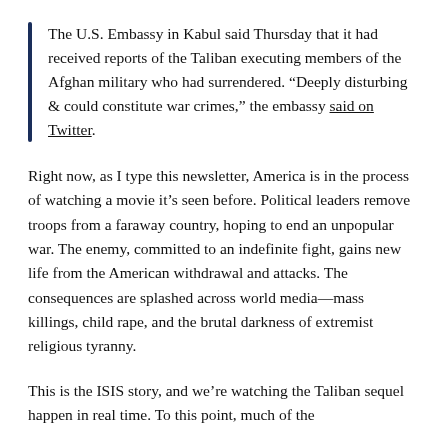The U.S. Embassy in Kabul said Thursday that it had received reports of the Taliban executing members of the Afghan military who had surrendered. “Deeply disturbing & could constitute war crimes,” the embassy said on Twitter.
Right now, as I type this newsletter, America is in the process of watching a movie it’s seen before. Political leaders remove troops from a faraway country, hoping to end an unpopular war. The enemy, committed to an indefinite fight, gains new life from the American withdrawal and attacks. The consequences are splashed across world media—mass killings, child rape, and the brutal darkness of extremist religious tyranny.
This is the ISIS story, and we’re watching the Taliban sequel happen in real time. To this point, much of the